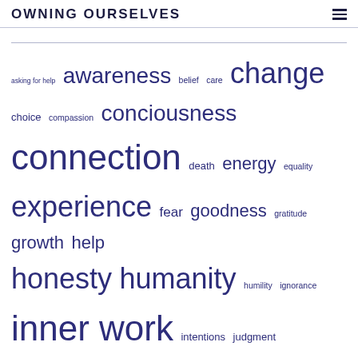OWNING OURSELVES
[Figure (infographic): Tag/word cloud with terms related to personal development and mindfulness, displayed in varying font sizes indicating frequency/importance. Words include: asking for help, awareness, belief, care, change, choice, compassion, conciousness, connection, death, energy, equality, experience, fear, goodness, gratitude, growth, help, honesty, humanity, humility, ignorance, inner work, intentions, judgment, kindness, knowledge, learning, life, love, mindfulness, mistakes, negative attitudes, poetry, questions, reality]